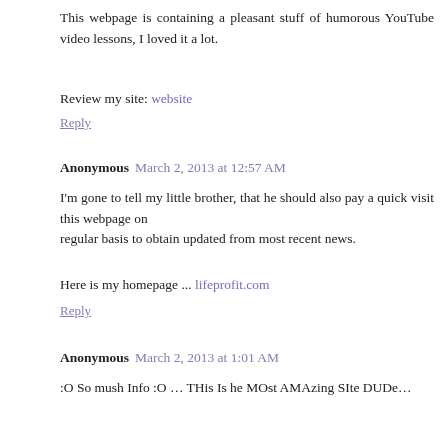This webpage is containing a pleasant stuff of humorous YouTube video lessons, I loved it a lot.
Review my site: website
Reply
Anonymous  March 2, 2013 at 12:57 AM
I'm gone to tell my little brother, that he should also pay a quick visit this webpage on regular basis to obtain updated from most recent news.
Here is my homepage ... lifeprofit.com
Reply
Anonymous  March 2, 2013 at 1:01 AM
:O So mush Info :O … THis Is he MOst AMAzing SIte DUDe…